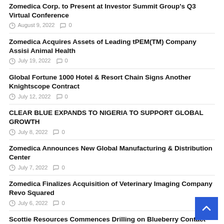Zomedica Corp. to Present at Investor Summit Group's Q3 Virtual Conference
August 9, 2022  0
Zomedica Acquires Assets of Leading tPEM(TM) Company Assisi Animal Health
July 19, 2022  0
Global Fortune 1000 Hotel & Resort Chain Signs Another Knightscope Contract
July 12, 2022  0
CLEAR BLUE EXPANDS TO NIGERIA TO SUPPORT GLOBAL GROWTH
July 8, 2022  0
Zomedica Announces New Global Manufacturing & Distribution Center
July 7, 2022  0
Zomedica Finalizes Acquisition of Veterinary Imaging Company Revo Squared
July 6, 2022  0
Scottie Resources Commences Drilling on Blueberry Contact Zone